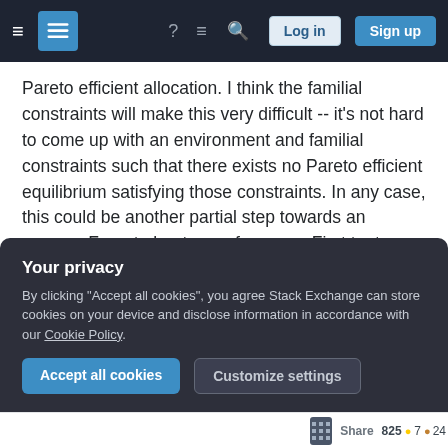Stack Exchange navigation bar with hamburger menu, logo, help, chat, search icons, Log in and Sign up buttons
Pareto efficient allocation. I think the familial constraints will make this very difficult -- it's not hard to come up with an environment and familial constraints such that there exists no Pareto efficient equilibrium satisfying those constraints. In any case, this could be another partial step towards an answer: Forget about envy-freeness. First try to come up with an assumption on preferences (and maybe on familial constraints) that guarantees the existence of a Pareto efficient allocation that satisfies familial constraints. Then worry about envy.
Your privacy
By clicking "Accept all cookies", you agree Stack Exchange can store cookies on your device and disclose information in accordance with our Cookie Policy.
Accept all cookies
Customize settings